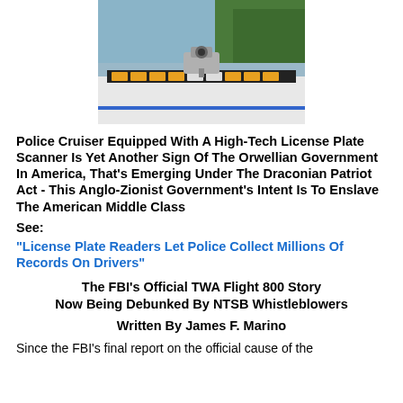[Figure (photo): Police cruiser roof with high-tech license plate scanner bar mounted on top, with water and trees visible in background]
Police Cruiser Equipped With A High-Tech License Plate Scanner Is Yet Another Sign Of The Orwellian Government In America, That's Emerging Under The Draconian Patriot Act - This Anglo-Zionist Government's Intent Is To Enslave The American Middle Class
See:
"License Plate Readers Let Police Collect Millions Of Records On Drivers"
The FBI's Official TWA Flight 800 Story Now Being Debunked By NTSB Whistleblowers
Written By James F. Marino
Since the FBI's final report on the official cause of the